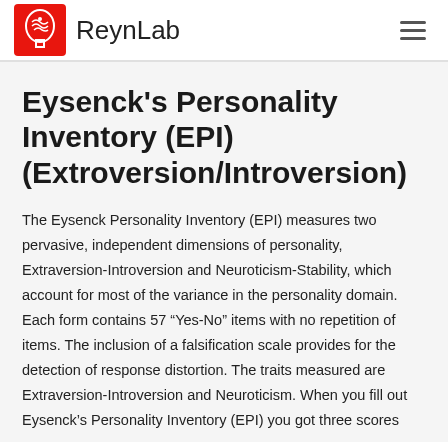ReynLab
Eysenck's Personality Inventory (EPI) (Extroversion/Introversion)
The Eysenck Personality Inventory (EPI) measures two pervasive, independent dimensions of personality, Extraversion-Introversion and Neuroticism-Stability, which account for most of the variance in the personality domain. Each form contains 57 “Yes-No” items with no repetition of items. The inclusion of a falsification scale provides for the detection of response distortion. The traits measured are Extraversion-Introversion and Neuroticism. When you fill out Eysenck’s Personality Inventory (EPI) you got three scores